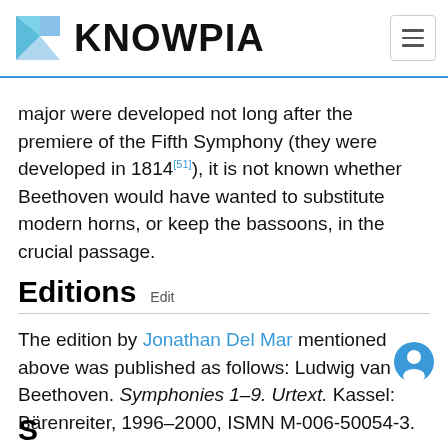KNOWPIA
major were developed not long after the premiere of the Fifth Symphony (they were developed in 1814[51]), it is not known whether Beethoven would have wanted to substitute modern horns, or keep the bassoons, in the crucial passage.
Editions  Edit
The edition by Jonathan Del Mar mentioned above was published as follows: Ludwig van Beethoven. Symphonies 1–9. Urtext. Kassel: Bärenreiter, 1996–2000, ISMN M-006-50054-3.
An inexpensive version of the score has been issued by Dover Publications. This is a 1989 reprint of a edition (Braunschweig: Henry Litolff, no date).[52]
S...